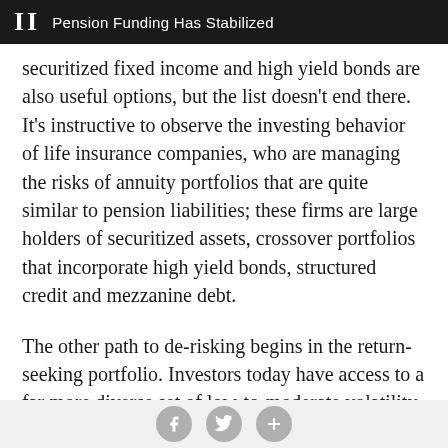II  Pension Funding Has Stabilized
securitized fixed income and high yield bonds are also useful options, but the list doesn't end there. It's instructive to observe the investing behavior of life insurance companies, who are managing the risks of annuity portfolios that are quite similar to pension liabilities; these firms are large holders of securitized assets, crossover portfolios that incorporate high yield bonds, structured credit and mezzanine debt.
The other path to de-risking begins in the return-seeking portfolio. Investors today have access to a far more diverse set of low-to-moderate volatility alternative asset classes that can deliver stable excess performance versus
social share buttons: facebook, twitter, plus